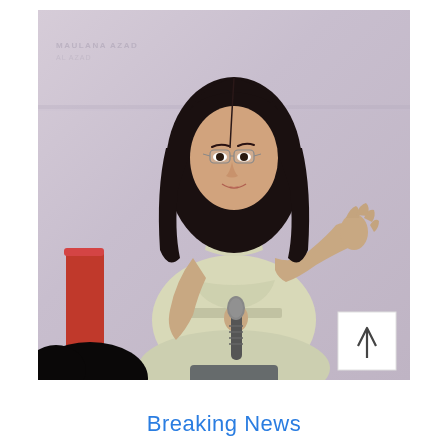[Figure (photo): A young woman with long black hair wearing a light green/cream salwar kameez, sitting and speaking into a handheld microphone with her right hand raised gesturing, in front of a light purple/grey backdrop with faint watermark text reading 'MAULANA AZAD'. A red chair back is partially visible. A dark silhouette of a head is visible at lower left. A scroll-to-top button (white square with up arrow) appears at bottom right of the photo.]
Breaking News